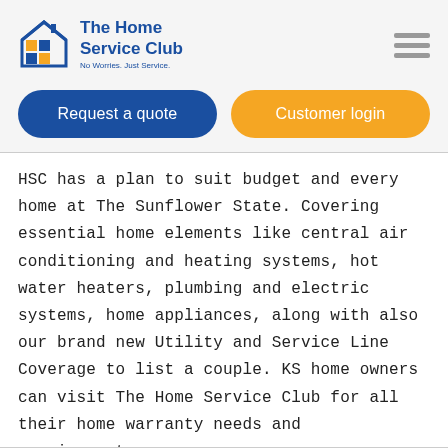[Figure (logo): The Home Service Club logo with house icon and tagline 'No Worries. Just Service.']
Request a quote
Customer login
HSC has a plan to suit budget and every home at The Sunflower State. Covering essential home elements like central air conditioning and heating systems, hot water heaters, plumbing and electric systems, home appliances, along with also our brand new Utility and Service Line Coverage to list a couple. KS home owners can visit The Home Service Club for all their home warranty needs and requirements.